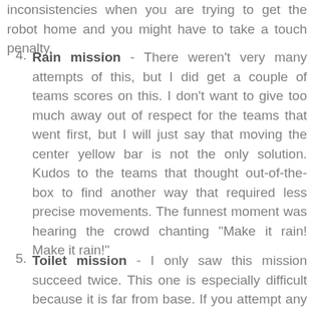inconsistencies when you are trying to get the robot home and you might have to take a touch penalty.
Rain mission - There weren't very many attempts of this, but I did get a couple of teams scores on this. I don't want to give too much away out of respect for the teams that went first, but I will just say that moving the center yellow bar is not the only solution. Kudos to the teams that thought out-of-the-box to find another way that required less precise movements. The funnest moment was hearing the crowd chanting "Make it rain! Make it rain!"
Toilet mission - I only saw this mission succeed twice. This one is especially difficult because it is far from base. If you attempt any mission on the East half the...